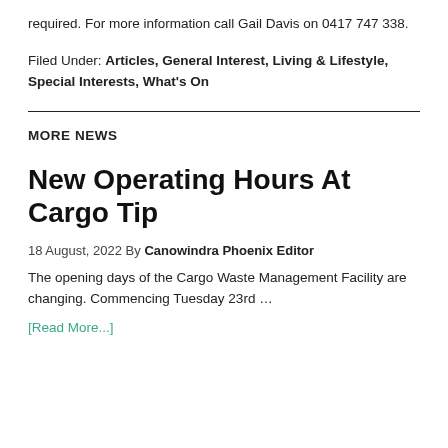required. For more information call Gail Davis on 0417 747 338.
Filed Under: Articles, General Interest, Living & Lifestyle, Special Interests, What's On
MORE NEWS
New Operating Hours At Cargo Tip
18 August, 2022 By Canowindra Phoenix Editor
The opening days of the Cargo Waste Management Facility are changing.  Commencing Tuesday 23rd …
[Read More...]